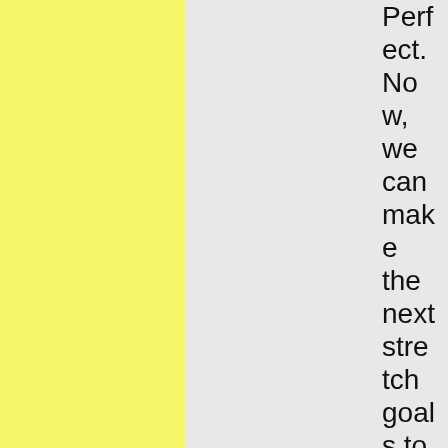Perfect. Now, we can make the next stretch goals to lose the fur and add the feathers